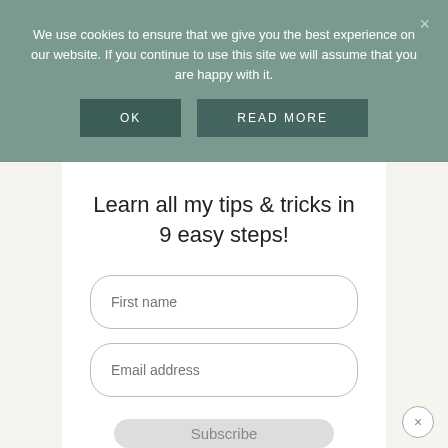We use cookies to ensure that we give you the best experience on our website. If you continue to use this site we will assume that you are happy with it.
OK
READ MORE
Learn all my tips & tricks in 9 easy steps!
First name
Email address
Subscribe